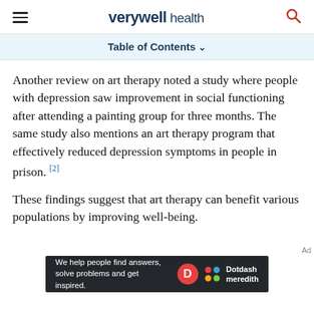verywell health
Table of Contents
Another review on art therapy noted a study where people with depression saw improvement in social functioning after attending a painting group for three months. The same study also mentions an art therapy program that effectively reduced depression symptoms in people in prison. [2]
These findings suggest that art therapy can benefit various populations by improving well-being.
[Figure (other): Dotdash Meredith advertisement banner: 'We help people find answers, solve problems and get inspired.' with Dotdash Meredith logo]